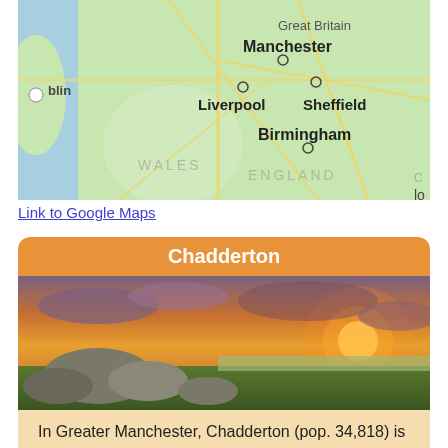[Figure (map): Google Maps screenshot showing part of Great Britain including cities: Manchester, Liverpool, Sheffield, Birmingham, with Ireland (Dublin) on the left, Wales and England labels visible.]
Link to Google Maps
Chadderton
[Figure (photo): Landscape photo showing rocky moorland at sunset with orange sky and dramatic clouds.]
In Greater Manchester, Chadderton (pop. 34,818) is an Oldham Metropolitan